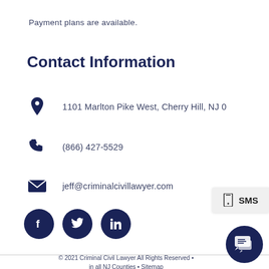Payment plans are available.
Contact Information
1101 Marlton Pike West, Cherry Hill, NJ 0
(866) 427-5529
jeff@criminalcivillawyer.com
[Figure (illustration): Social media icons: Facebook, Twitter, LinkedIn]
[Figure (illustration): SMS tooltip overlay showing phone icon and SMS label]
© 2021 Criminal Civil Lawyer All Rights Reserved • in all NJ Counties • Sitemap
[Figure (illustration): Chat bubble icon button in bottom right corner]